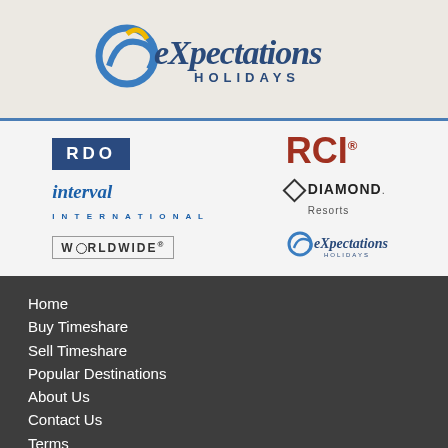[Figure (logo): Expectations Holidays logo — stylized script text with a blue and gold swirl icon]
[Figure (logo): Six partner/affiliation logos: RDO, Interval International, Worldwide, RCI, Diamond Resorts, Expectations Holidays]
Home
Buy Timeshare
Sell Timeshare
Popular Destinations
About Us
Contact Us
Terms
Marriott Resales